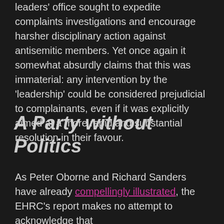leaders' office sought to expedite complaints investigations and encourage harsher disciplinary action against antisemitic members. Yet once again it somewhat absurdly claims that this was immaterial: any intervention by the 'leadership' could be considered prejudicial to complainants, even if it was explicitly aimed at a more rapid and substantial resolution in their favour.
A Party without Politics
As Peter Oborne and Richard Sanders have already compellingly illustrated, the EHRC's report makes no attempt to acknowledge that